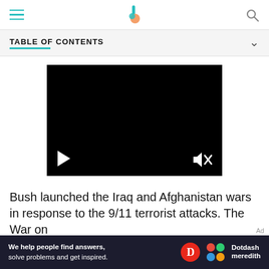TABLE OF CONTENTS
[Figure (screenshot): Black video player with play button (white triangle) at bottom-left and muted speaker icon at bottom-right]
Bush launched the Iraq and Afghanistan wars in response to the 9/11 terrorist attacks. The War on
[Figure (infographic): Dotdash Meredith ad banner: 'We help people find answers, solve problems and get inspired.' with Dotdash Meredith logo]